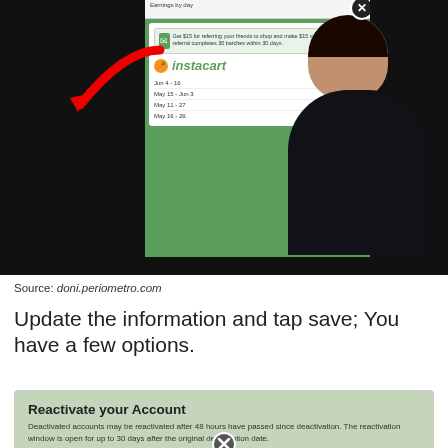[Figure (screenshot): Screenshot of an Instacart earnings app interface overlaid on a video of a man in a car, with a red arrow pointing to the app and a close (X) button. The app shows earnings rows: Jun 4-16 $2,203.41, May 15-Jun 3 $911.50, May 11-27 $1,283.14, May 16-26 $1,460.09]
Source: doni.periometro.com
Update the information and tap save; You have a few options.
[Figure (screenshot): Screenshot of an account reactivation dialog: 'Reactivate your Account' heading, text about 48 hours and 30 day window, Password field, Confirm Password field, 'Reactivate my Account' button, '00h 00m until reactivation is possible' timer.]
Source: domvverhdnom.com